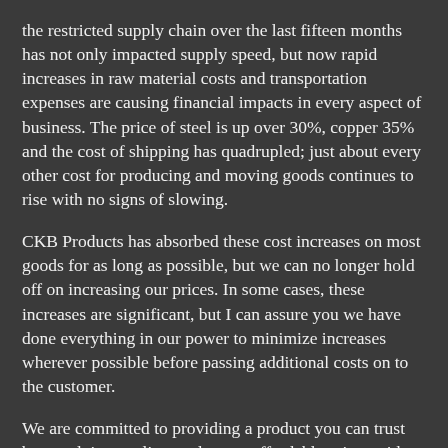the restricted supply chain over the last fifteen months has not only impacted supply speed, but now rapid increases in raw material costs and transportation expenses are causing financial impacts in every aspect of business. The price of steel is up over 30%, copper 35% and the cost of shipping has quadrupled; just about every other cost for producing and moving goods continues to rise with no signs of slowing.
CKB Products has absorbed these cost increases on most goods for as long as possible, but we can no longer hold off on increasing our prices. In some cases, these increases are significant, but I can assure you we have done everything in our power to minimize increases wherever possible before passing additional costs on to the customer.
We are committed to providing a product you can trust by supplying quality products at affordable prices with outstanding customer service. We will continue to work tirelessly to increase supply and minimize cost impacts wherever we can.
Thank you for your business and ongoing support